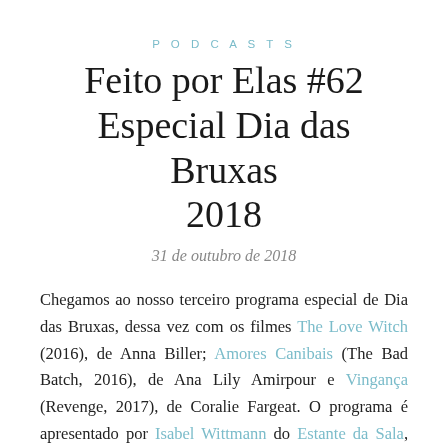PODCASTS
Feito por Elas #62 Especial Dia das Bruxas 2018
31 de outubro de 2018
Chegamos ao nosso terceiro programa especial de Dia das Bruxas, dessa vez com os filmes The Love Witch (2016), de Anna Biller; Amores Canibais (The Bad Batch, 2016), de Ana Lily Amirpour e Vingança (Revenge, 2017), de Coralie Fargeat. O programa é apresentado por Isabel Wittmann do Estante da Sala, Stephânia Amaral do Cinematório e Michelle Henriques, do Leia Mulheres e Feminist Horror.